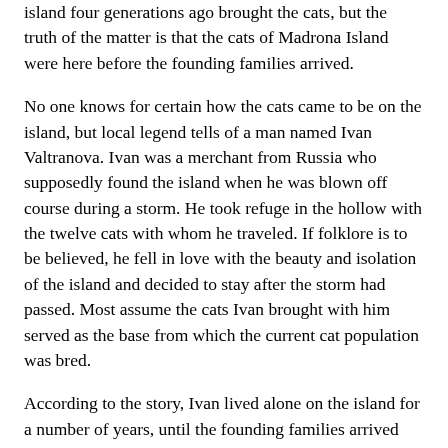island four generations ago brought the cats, but the truth of the matter is that the cats of Madrona Island were here before the founding families arrived.
No one knows for certain how the cats came to be on the island, but local legend tells of a man named Ivan Valtranova. Ivan was a merchant from Russia who supposedly found the island when he was blown off course during a storm. He took refuge in the hollow with the twelve cats with whom he traveled. If folklore is to be believed, he fell in love with the beauty and isolation of the island and decided to stay after the storm had passed. Most assume the cats Ivan brought with him served as the base from which the current cat population was bred.
According to the story, Ivan lived alone on the island for a number of years, until the founding families arrived and built the fishing village of Harthaven. It is said that one of the settlers killed the Russian over a land dispute. Although the account of his demise has most likely been sensationalized, it seems that after a hard-fought battle to retain his isolation, he was beheaded and his headless body was left in the hollow. The legend tells us that the head was never found.